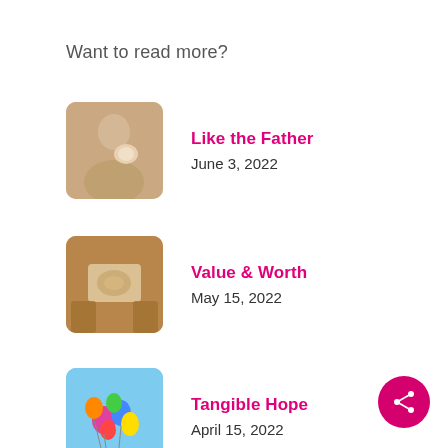Want to read more?
Like the Father
June 3, 2022
Value & Worth
May 15, 2022
Tangible Hope
April 15, 2022